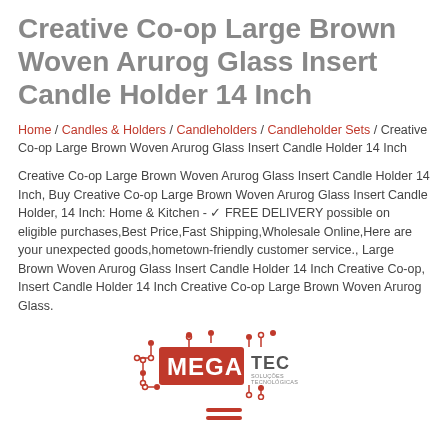Creative Co-op Large Brown Woven Arurog Glass Insert Candle Holder 14 Inch
Home / Candles & Holders / Candleholders / Candleholder Sets / Creative Co-op Large Brown Woven Arurog Glass Insert Candle Holder 14 Inch
Creative Co-op Large Brown Woven Arurog Glass Insert Candle Holder 14 Inch, Buy Creative Co-op Large Brown Woven Arurog Glass Insert Candle Holder, 14 Inch: Home & Kitchen - ✓ FREE DELIVERY possible on eligible purchases,Best Price,Fast Shipping,Wholesale Online,Here are your unexpected goods,hometown-friendly customer service., Large Brown Woven Arurog Glass Insert Candle Holder 14 Inch Creative Co-op, Insert Candle Holder 14 Inch Creative Co-op Large Brown Woven Arurog Glass.
[Figure (logo): MegaTec Soluções Tecnológicas logo — red rectangle with MEGA text, circuit board dots, and TEC text to the right]